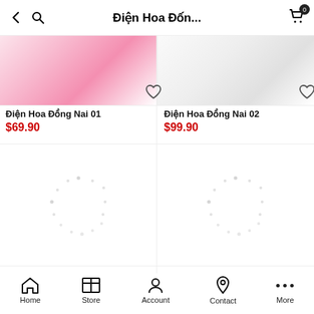Điện Hoa Đốn...
[Figure (screenshot): Product listing screenshot showing two flower products with pink flowers (Điện Hoa Đồng Nai 01) and white flowers (Điện Hoa Đồng Nai 02) partially visible at top]
Điện Hoa Đồng Nai 01
$69.90
Điện Hoa Đồng Nai 02
$99.90
[Figure (screenshot): Loading spinner dots for product 03]
[Figure (screenshot): Loading spinner dots for product 04]
Điện Hoa Đồng Nai 03
Điện Hoa Đồng Nai 04
Home  Store  Account  Contact  More